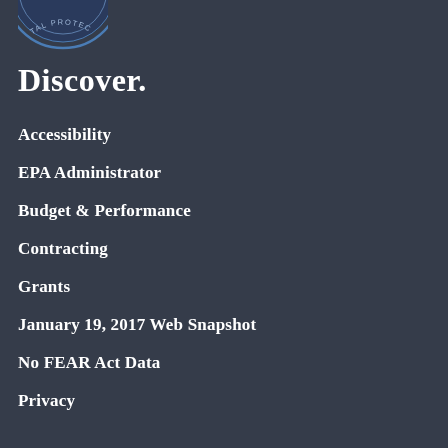[Figure (logo): Partial EPA seal/logo visible at top left — circular seal with text 'TAL PROTEC' visible along the arc]
Discover.
Accessibility
EPA Administrator
Budget & Performance
Contracting
Grants
January 19, 2017 Web Snapshot
No FEAR Act Data
Privacy